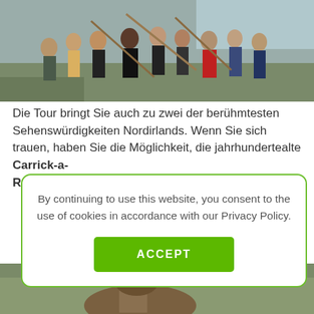[Figure (photo): Group of tourists posing playfully outdoors, some holding sticks, with water visible in background.]
Die Tour bringt Sie auch zu zwei der berühmtesten Sehenswürdigkeiten Nordirlands. Wenn Sie sich trauen, haben Sie die Möglichkeit, die jahrhundertealte Carrick-a-R…
By continuing to use this website, you consent to the use of cookies in accordance with our Privacy Policy.
ACCEPT
[Figure (photo): Partial view of an animal (possibly a pony or horse) at the bottom of the page.]